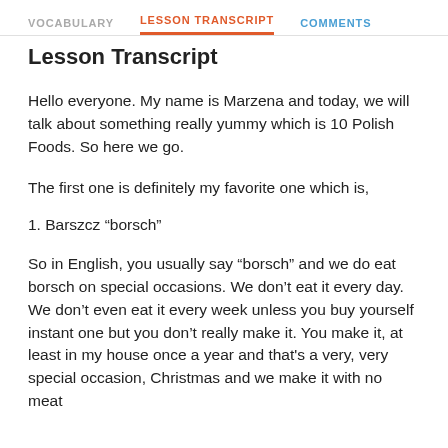VOCABULARY   LESSON TRANSCRIPT   COMMENTS
Lesson Transcript
Hello everyone. My name is Marzena and today, we will talk about something really yummy which is 10 Polish Foods. So here we go.
The first one is definitely my favorite one which is,
1. Barszcz “borsch”
So in English, you usually say “borsch” and we do eat borsch on special occasions. We don’t eat it every day. We don’t even eat it every week unless you buy yourself instant one but you don’t really make it. You make it, at least in my house once a year and that’s a very, very special occasion, Christmas and we make it with no meat